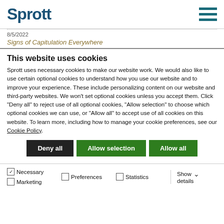Sprott
8/5/2022
Signs of Capitulation Everywhere
This website uses cookies
Sprott uses necessary cookies to make our website work. We would also like to use certain optional cookies to understand how you use our website and to improve your experience. These include personalizing content on our website and third-party websites. We won't set optional cookies unless you accept them. Click "Deny all" to reject use of all optional cookies, "Allow selection" to choose which optional cookies we can use, or "Allow all" to accept use of all cookies on this website. To learn more, including how to manage your cookie preferences, see our Cookie Policy.
Deny all | Allow selection | Allow all
Necessary | Preferences | Statistics | Marketing | Show details